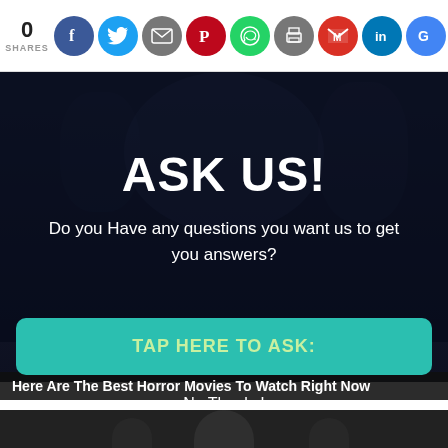0 SHARES
[Figure (infographic): Social sharing bar with icons: Facebook, Twitter, Email, Pinterest, WhatsApp, Print, Gmail, LinkedIn, Google]
[Figure (infographic): Dark overlay on movie scene background showing 'ASK US!' heading and subtitle 'Do you Have any questions you want us to get you answers?']
TAP HERE TO ASK:
Here Are The Best Horror Movies To Watch Right Now
No Thanks!
[Figure (photo): Dark movie scene at bottom of page]